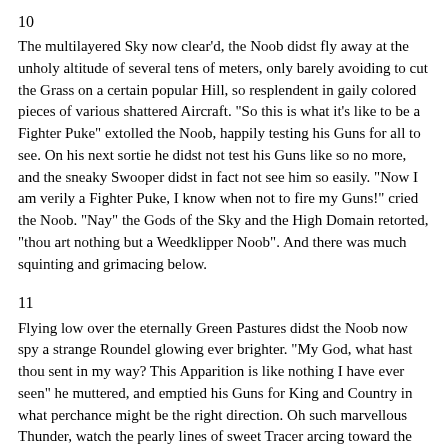10
The multilayered Sky now clear'd, the Noob didst fly away at the unholy altitude of several tens of meters, only barely avoiding to cut the Grass on a certain popular Hill, so resplendent in gaily colored pieces of various shattered Aircraft. "So this is what it's like to be a Fighter Puke" extolled the Noob, happily testing his Guns for all to see. On his next sortie he didst not test his Guns like so no more, and the sneaky Swooper didst in fact not see him so easily. "Now I am verily a Fighter Puke, I know when not to fire my Guns!" cried the Noob. "Nay" the Gods of the Sky and the High Domain retorted, "thou art nothing but a Weedklipper Noob". And there was much squinting and grimacing below.
11
Flying low over the eternally Green Pastures didst the Noob now spy a strange Roundel glowing ever brighter. "My God, what hast thou sent in my way? This Apparition is like nothing I have ever seen" he muttered, and emptied his Guns for King and Country in what perchance might be the right direction. Oh such marvellous Thunder, watch the pearly lines of sweet Tracer arcing toward the strange Shape yet falling curiously short. "WTF!!! Why doth he not fall down in fiery Flames such I didst not long ago??!?! Crud and nerf!!! These Guns are Ghey!!?! I'm a Fighter Puke and these Frikken Guns are no good!", yell'd he and pounded his Temple in consummate frustration. "Lordy No, thou art no Fighter Puke until